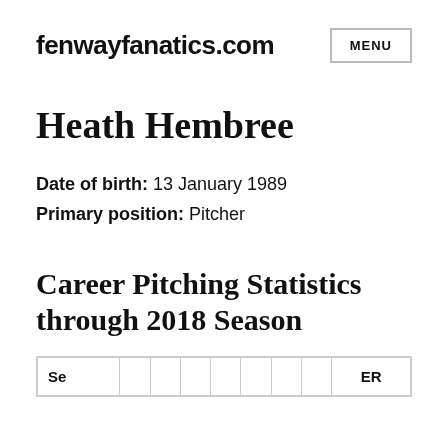fenwayfanatics.com
Heath Hembree
Date of birth: 13 January 1989
Primary position: Pitcher
Career Pitching Statistics through 2018 Season
| Se |  |  |  |  |  |  |  | ER |
| --- | --- | --- | --- | --- | --- | --- | --- | --- |